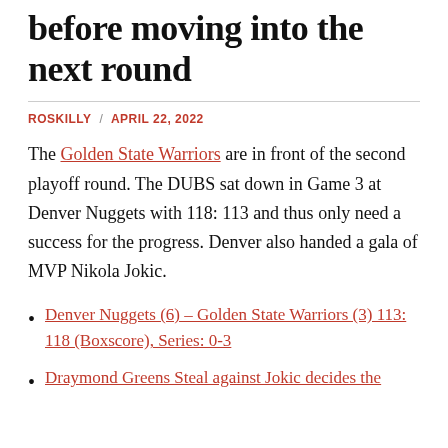before moving into the next round
ROSKILLY / APRIL 22, 2022
The Golden State Warriors are in front of the second playoff round. The DUBS sat down in Game 3 at Denver Nuggets with 118: 113 and thus only need a success for the progress. Denver also handed a gala of MVP Nikola Jokic.
Denver Nuggets (6) – Golden State Warriors (3) 113: 118 (Boxscore), Series: 0-3
Draymond Greens Steal against Jokic decides the